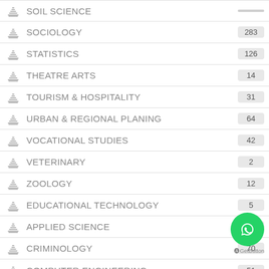SOIL SCIENCE
SOCIOLOGY
STATISTICS
THEATRE ARTS
TOURISM & HOSPITALITY
URBAN & REGIONAL PLANING
VOCATIONAL STUDIES
VETERINARY
ZOOLOGY
EDUCATIONAL TECHNOLOGY
APPLIED SCIENCE
CRIMINOLOGY
COMPUTER ENGINEERING